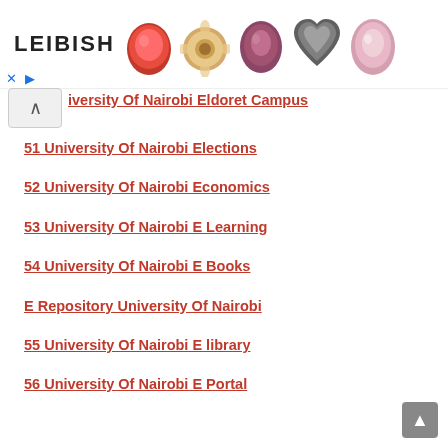[Figure (photo): Leibish advertisement banner with gemstones/diamonds in various colors including red, pink, champagne, and grey]
University Of Nairobi  Eldoret Campus
51  University Of Nairobi  Elections
52 University Of Nairobi  Economics
53 University Of Nairobi  E Learning
54 University Of Nairobi  E Books
E Repository University Of Nairobi
55 University Of Nairobi  E library
56 University Of Nairobi  E Portal